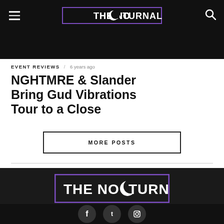THE NOCTURNAL TIMES
EVENT REVIEWS / 6 years ago
NGHTMRE & Slander Bring Gud Vibrations Tour to a Close
MORE POSTS
[Figure (logo): The Nocturnal Times logo - white text on dark background with purple border rectangle and crescent moon replacing the O in NO]
[Figure (other): Social media icons row: Facebook, Twitter, Instagram circles]